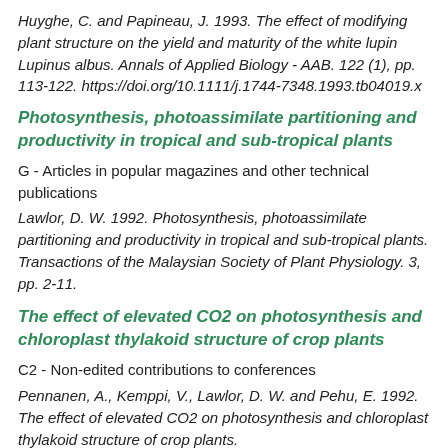Huyghe, C. and Papineau, J. 1993. The effect of modifying plant structure on the yield and maturity of the white lupin Lupinus albus. Annals of Applied Biology - AAB. 122 (1), pp. 113-122. https://doi.org/10.1111/j.1744-7348.1993.tb04019.x
Photosynthesis, photoassimilate partitioning and productivity in tropical and sub-tropical plants
G - Articles in popular magazines and other technical publications
Lawlor, D. W. 1992. Photosynthesis, photoassimilate partitioning and productivity in tropical and sub-tropical plants. Transactions of the Malaysian Society of Plant Physiology. 3, pp. 2-11.
The effect of elevated CO2 on photosynthesis and chloroplast thylakoid structure of crop plants
C2 - Non-edited contributions to conferences
Pennanen, A., Kemppi, V., Lawlor, D. W. and Pehu, E. 1992. The effect of elevated CO2 on photosynthesis and chloroplast thylakoid structure of crop plants.